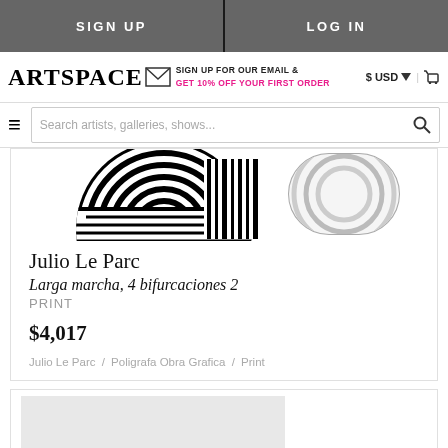SIGN UP | LOG IN
ARTSPACE — SIGN UP FOR OUR EMAIL & GET 10% OFF YOUR FIRST ORDER — $ USD
Search artists, galleries, shows...
[Figure (screenshot): Partial artwork image showing black and white geometric striped patterns — a print by Julio Le Parc]
Julio Le Parc
Larga marcha, 4 bifurcaciones 2
PRINT
$4,017
Julio Le Parc / Poligrafa Obra Grafica / Print